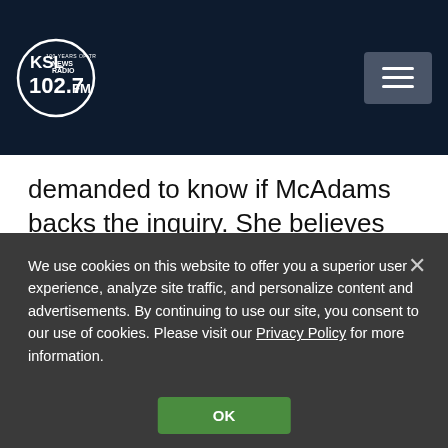KSL NewsRadio 102.7FM
demanded to know if McAdams backs the inquiry.  She believes there is enough evidence to cause McAdams to make a decision.
We use cookies on this website to offer you a superior user experience, analyze site traffic, and personalize content and advertisements. By continuing to use our site, you consent to our use of cookies. Please visit our Privacy Policy for more information.